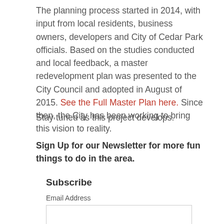The planning process started in 2014, with input from local residents, business owners, developers and City of Cedar Park officials. Based on the studies conducted and local feedback, a master redevelopment plan was presented to the City Council and adopted in August of 2015. See the Full Master Plan here. Since then, the City has been working to bring this vision to reality.
Stay tuned as this project develops.
Sign Up for our Newsletter for more fun things to do in the area.
Subscribe
Email Address
First Name